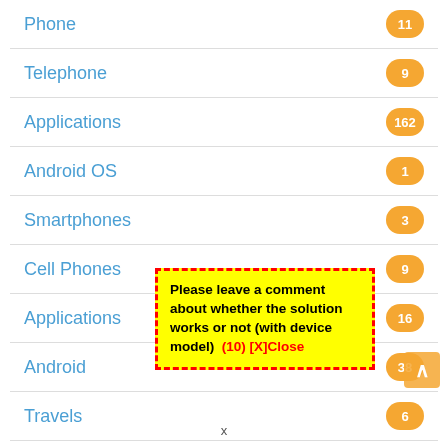Phone 11
Telephone 9
Applications 162
Android OS 1
Smartphones 3
Cell Phones 9
Applications 16
Android 38
Travels 6
Photo 21
Please leave a comment about whether the solution works or not (with device model)  (10) [X]Close